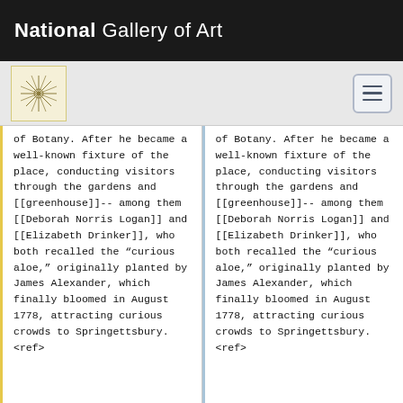National Gallery of Art
of Botany. After he became a well-known fixture of the place, conducting visitors through the gardens and [[greenhouse]]-- among them [[Deborah Norris Logan]] and [[Elizabeth Drinker]], who both recalled the “curious aloe,” originally planted by James Alexander, which finally bloomed in August 1778, attracting curious crowds to Springettsbury. <ref>
of Botany. After he became a well-known fixture of the place, conducting visitors through the gardens and [[greenhouse]]-- among them [[Deborah Norris Logan]] and [[Elizabeth Drinker]], who both recalled the “curious aloe,” originally planted by James Alexander, which finally bloomed in August 1778, attracting curious crowds to Springettsbury. <ref>